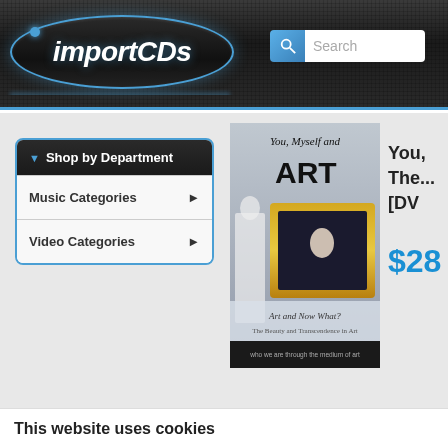[Figure (screenshot): importCDs website header with logo and search bar]
▼ Shop by Department
Music Categories ►
Video Categories ►
[Figure (photo): DVD product cover: You, Myself and Art / The Beauty and Transcendence in Art [DVD]]
You, Myself and The... [DV
$28
This website uses cookies